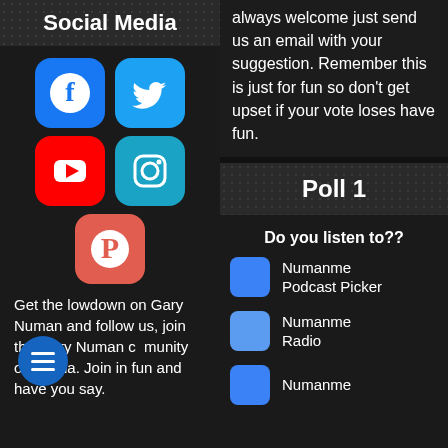Social Media
[Figure (illustration): Social media icons grid: Facebook (blue), Twitter (light blue), YouTube (red), Instagram (teal), Pinterest (orange-red)]
Get the lowdown on Gary Numan and follow us, join the Gary Numan community on media. Join in fun and have you say.
always welcome just send us an email with your suggestion. Remember this is just for fun so don't get upset if your vote loses have fun.
Poll 1
Do you listen to??
Numanme Podcast Picker
Numanme Radio
Numanme